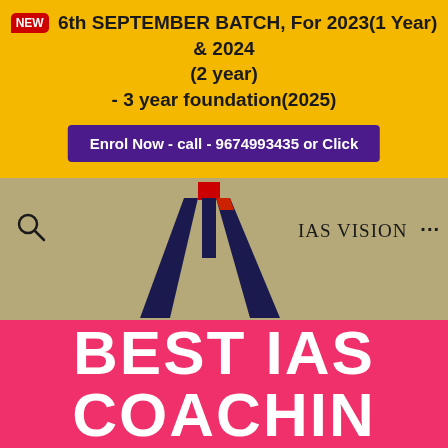NEW 6th SEPTEMBER BATCH, For 2023(1 Year) & 2024 (2 year) - 3 year foundation(2025)
Enrol Now - call - 9674993435 or Click
[Figure (logo): IAS Vision logo with large dark navy V shape and red accent on i letter, on tan/khaki background, with search icon on left and three dots menu on right]
BEST IAS COACHIN